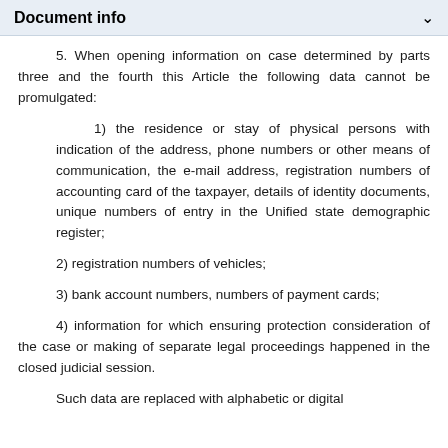Document info
5. When opening information on case determined by parts three and the fourth this Article the following data cannot be promulgated:
1) the residence or stay of physical persons with indication of the address, phone numbers or other means of communication, the e-mail address, registration numbers of accounting card of the taxpayer, details of identity documents, unique numbers of entry in the Unified state demographic register;
2) registration numbers of vehicles;
3) bank account numbers, numbers of payment cards;
4) information for which ensuring protection consideration of the case or making of separate legal proceedings happened in the closed judicial session.
Such data are replaced with alphabetic or digital